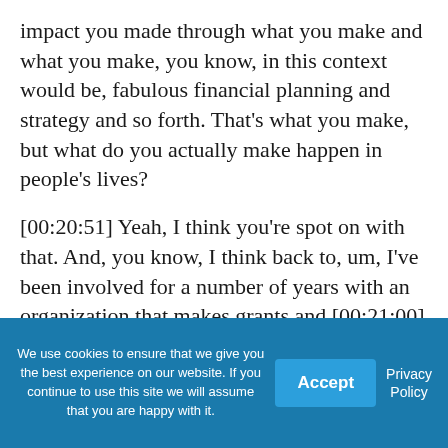impact you made through what you make and what you make, you know, in this context would be, fabulous financial planning and strategy and so forth. That's what you make, but what do you actually make happen in people's lives?
[00:20:51] Yeah, I think you're spot on with that. And, you know, I think back to, um, I've been involved for a number of years with an organization that makes grants and [00:21:00] it's so much more impactful to hear from some of the individuals who
We use cookies to ensure that we give you the best experience on our website. If you continue to use this site we will assume that you are happy with it.   Accept   Privacy Policy